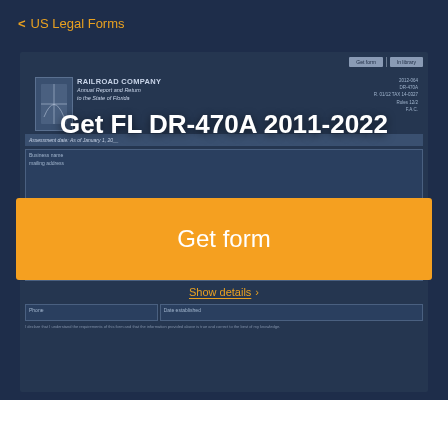< US Legal Forms
[Figure (screenshot): Screenshot of FL DR-470A Railroad Company Annual Report and Return to the State of Florida form preview, showing form fields for mailing address, phone numbers, contact person, contact mailing address, with a 'Show details' link and additional form fields.]
Get FL DR-470A 2011-2022
Get form